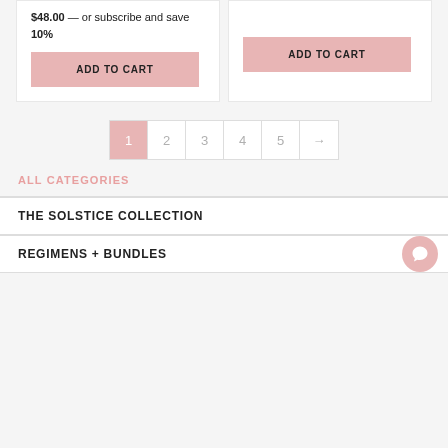$48.00 — or subscribe and save 10%
ADD TO CART
ADD TO CART
1 2 3 4 5 →
ALL CATEGORIES
THE SOLSTICE COLLECTION
REGIMENS + BUNDLES